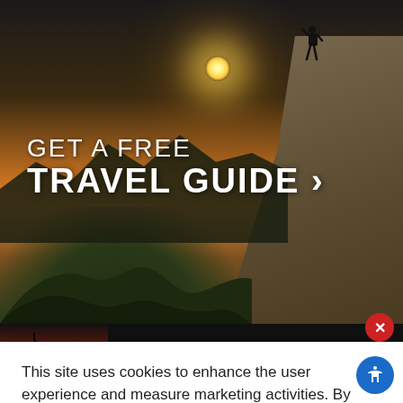[Figure (photo): Hero banner with sunset mountain landscape, person standing on cliff edge, text overlay reading GET A FREE TRAVEL GUIDE]
GET A FREE TRAVEL GUIDE ›
[Figure (photo): Dark banner strip with sailboat at sunset thumbnail and text 'A Sunset Cruise to Love from Historic Yorktown']
A Sunset Cruise to Love from Historic Yorktown
This site uses cookies to enhance the user experience and measure marketing activities. By continuing to use this website, you agree to their use. To find out more, please see our Privacy Policy.
ACCEPT